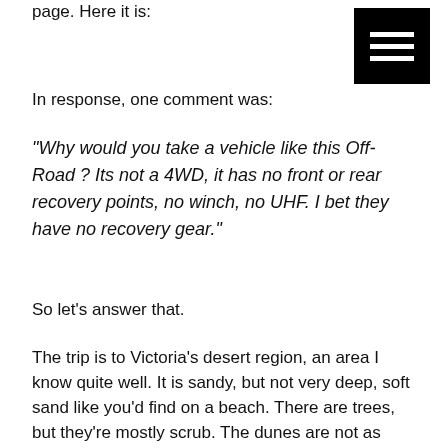page. Here it is:
[Figure (illustration): Hamburger menu icon — three horizontal white bars on a black square background]
In response, one comment was:
“Why would you take a vehicle like this Off-Road ? Its not a 4WD, it has no front or rear recovery points, no winch, no UHF. I bet they have no recovery gear.”
So let’s answer that.
The trip is to Victoria’s desert region, an area I know quite well. It is sandy, but not very deep, soft sand like you’d find on a beach. There are trees, but they’re mostly scrub. The dunes are not as steep as you’d find on Googs Track or the Simpson. That knowledge colours my choice of recovery gear;